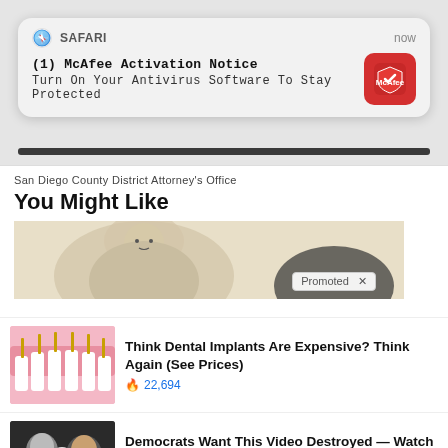[Figure (screenshot): Safari browser push notification for McAfee Activation Notice saying 'Turn On Your Antivirus Software To Stay Protected', timestamped 'now', with McAfee red icon on the right]
San Diego County District Attorney's Office
You Might Like
[Figure (illustration): Partial view of a vintage-style illustration of a large figure, with a 'Promoted x' badge overlay in bottom right]
[Figure (infographic): Thumbnail of dental implants illustration (pink gums with white teeth and gold implant posts)]
Think Dental Implants Are Expensive? Think Again (See Prices)
🔥 22,694
[Figure (photo): Thumbnail of a political photo showing two people with a play button overlay]
Democrats Want This Video Destroyed — Watch Now Before It's Banned
🔥 217,902